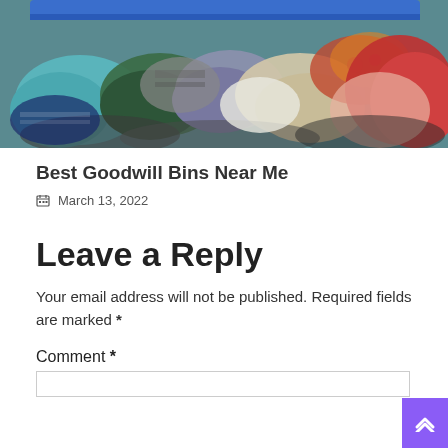[Figure (photo): A pile of mixed colorful clothing items heaped on what appears to be a blue bin or surface, photographed in an indoor setting.]
Best Goodwill Bins Near Me
📅 March 13, 2022
Leave a Reply
Your email address will not be published. Required fields are marked *
Comment *